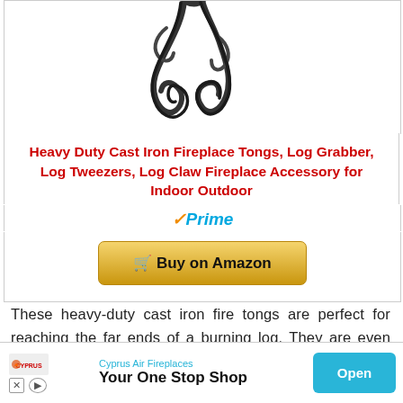[Figure (photo): Partial view of heavy duty cast iron fireplace tongs / log grabber on white background, showing the curled/claw end of the tongs in dark metal]
Heavy Duty Cast Iron Fireplace Tongs, Log Grabber, Log Tweezers, Log Claw Fireplace Accessory for Indoor Outdoor
[Figure (logo): Amazon Prime badge with orange checkmark and blue italic Prime text]
[Figure (other): Buy on Amazon button - gold/yellow rounded rectangle button with shopping cart icon]
These heavy-duty cast iron fire tongs are perfect for reaching the far ends of a burning log. They are even useful for adding logs to the fire. These sturdy tongs are made from ash wood and cast iron, making them
[Figure (other): Advertisement banner for Cyprus Air Fireplaces - Your One Stop Shop, with Open button]